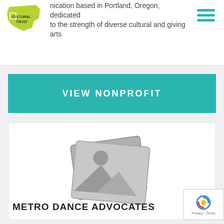nication based in Portland, Oregon, dedicated to the strength of diverse cultural and giving arts to
[Figure (logo): Oregon Cultural Trust logo — yellow-green shape of Oregon state with text CULTURAL TRUST]
[Figure (other): Hamburger menu icon (three horizontal teal lines)]
[Figure (other): VIEW NONPROFIT teal button]
[Figure (other): Placeholder image icon showing stacked photo frames with mountain/sun silhouette in gray]
METRO DANCE ADVOCATES
[Figure (other): reCAPTCHA badge with Privacy - Terms text]